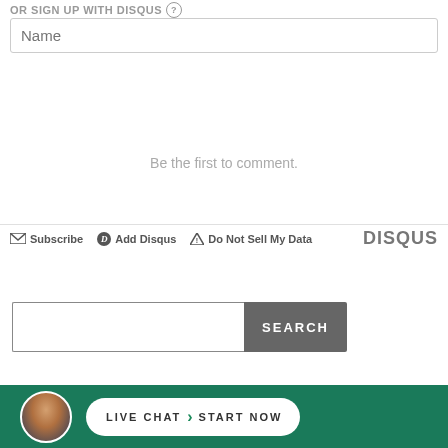OR SIGN UP WITH DISQUS ?
Name
Be the first to comment.
Subscribe  Add Disqus  Do Not Sell My Data  DISQUS
SEARCH
Injured On The Job
LIVE CHAT › START NOW